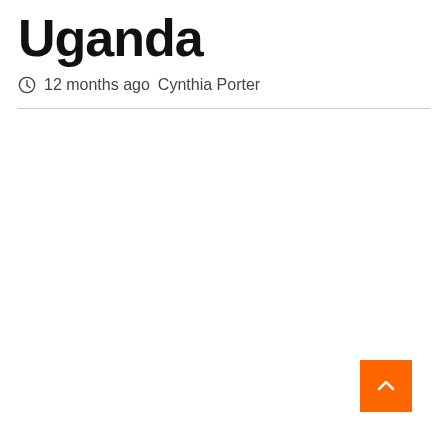Uganda
12 months ago  Cynthia Porter
[Figure (other): Back to top button — orange square with white upward chevron arrow in bottom-right corner]